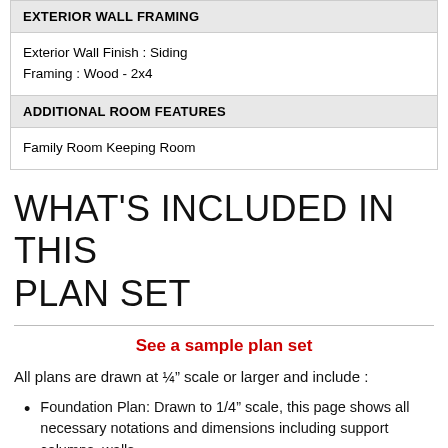| EXTERIOR WALL FRAMING |
| --- |
| Exterior Wall Finish : Siding
Framing : Wood - 2x4 |
| ADDITIONAL ROOM FEATURES |
| --- |
| Family Room Keeping Room |
WHAT'S INCLUDED IN THIS PLAN SET
See a sample plan set
All plans are drawn at ¼" scale or larger and include :
Foundation Plan: Drawn to 1/4" scale, this page shows all necessary notations and dimensions including support columns, walls